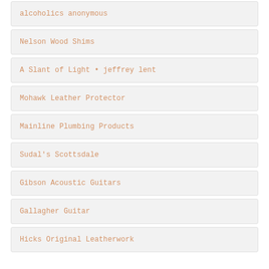alcoholics anonymous
Nelson Wood Shims
A Slant of Light • jeffrey lent
Mohawk Leather Protector
Mainline Plumbing Products
Sudal's Scottsdale
Gibson Acoustic Guitars
Gallagher Guitar
Hicks Original Leatherwork